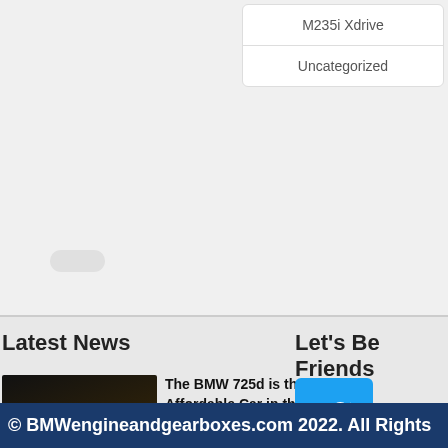M235i Xdrive
Uncategorized
Latest News
[Figure (photo): BMW 7 Series interior showing steering wheel and dashboard]
The BMW 725d is the Most Affordable Car in the 7 Series
Read More...
Let's Be Friends
[Figure (logo): Twitter blue bird logo icon]
Twitter
[Figure (logo): Facebook white F on blue background icon]
Facebook
[Figure (logo): YouTube red icon with white play button]
Youtube
© BMWengineandgearboxes.com 2022. All Rights